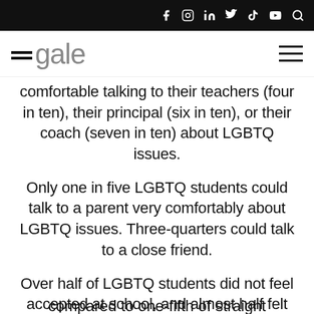Egale — navigation bar with social icons
comfortable talking to their teachers (four in ten), their principal (six in ten), or their coach (seven in ten) about LGBTQ issues.
Only one in five LGBTQ students could talk to a parent very comfortably about LGBTQ issues. Three-quarters could talk to a close friend.
Over half of LGBTQ students did not feel accepted at school, and almost half felt they could not be themselves, compared to one-fifth of straight